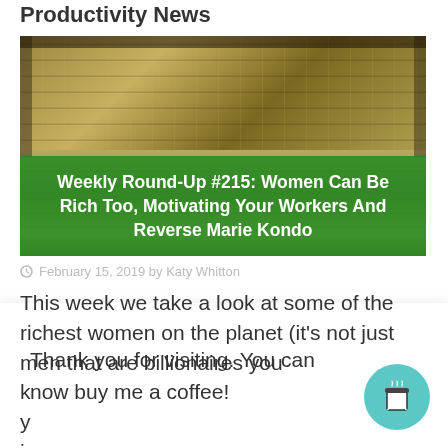Productivity News
[Figure (photo): Photo of bundles of US dollar bills stacked in an open briefcase or box, viewed from above]
Weekly Round-Up #215: Women Can Be Rich Too, Motivating Your Workers And Reverse Marie Kondo
February 15, 2019 by Katy Whitton
This week we take a look at some of the richest women on the planet (it's not just men that are billionaires you k y in if
Thank you for visiting. You can now buy me a coffee!